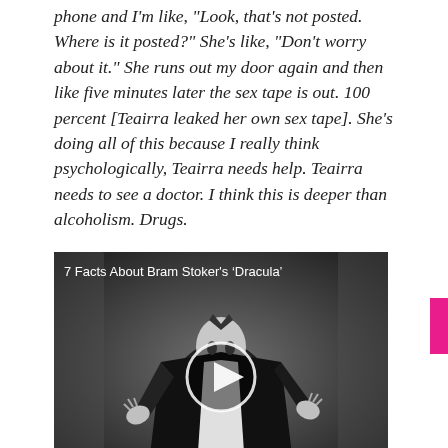phone and I'm like, "Look, that's not posted. Where is it posted?" She's like, "Don't worry about it." She runs out my door again and then like five minutes later the sex tape is out. 100 percent [Teairra leaked her own sex tape]. She's doing all of this because I really think psychologically, Teairra needs help. Teairra needs to see a doctor. I think this is deeper than alcoholism. Drugs.
[Figure (other): Black and white video thumbnail showing a man dressed as Dracula in a suit and cape, with a play button overlay. Title reads '7 Facts About Bram Stoker's Dracula'.]